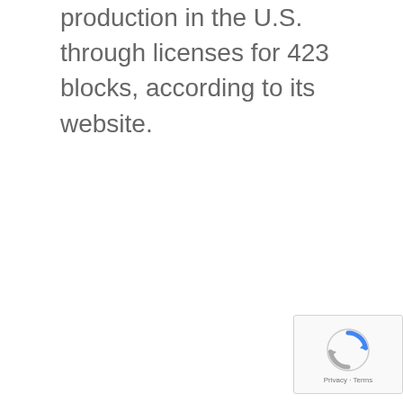production in the U.S. through licenses for 423 blocks, according to its website.
[Figure (other): reCAPTCHA widget with Privacy and Terms links]